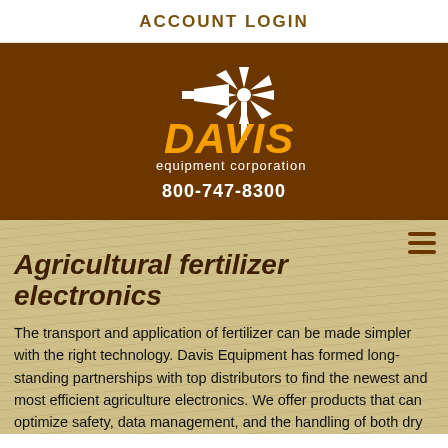ACCOUNT LOGIN
[Figure (logo): Davis Equipment Corporation logo with windmill graphic and orange DAVIS text on brown background, phone number 800-747-8300]
Agricultural fertilizer electronics
The transport and application of fertilizer can be made simpler with the right technology. Davis Equipment has formed long-standing partnerships with top distributors to find the newest and most efficient agriculture electronics. We offer products that can optimize safety, data management, and the handling of both dry